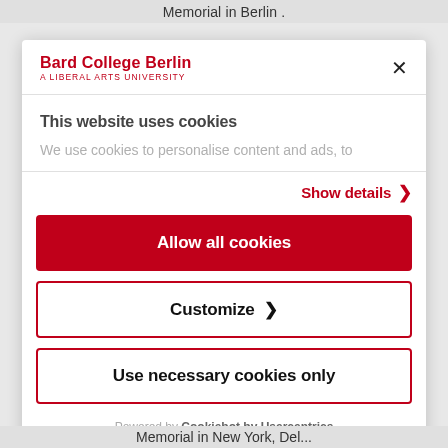Memorial in Berlin .
[Figure (screenshot): Cookie consent modal dialog from Bard College Berlin website. Contains header with logo and close button, cookie usage notice, Show details link, Allow all cookies button, Customize button, Use necessary cookies only button, and Cookiebot by Usercentrics branding.]
Powered by Cookiebot by Usercentrics
Memorial in New York, Del...